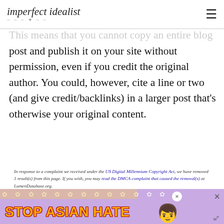imperfect idealist
This means that you cannot copy an entire blog post and publish it on your site without permission, even if you credit the original author. You could, however, cite a line or two (and give credit/backlinks) in a larger post that's otherwise your original content.
In response to a complaint we received under the US Digital Millennium Copyright Act, we have removed 1 result(s) from this page. If you wish, you may read the DMCA complaint that caused the removal(s) at LumenDatabase.org.
Here's an example of DMCA in action in Google search results.
[Figure (photo): Advertisement banner with purple background with white flowers, bold orange 'STOP ASIAN HATE' text, an anime-style girl character, and close buttons.]